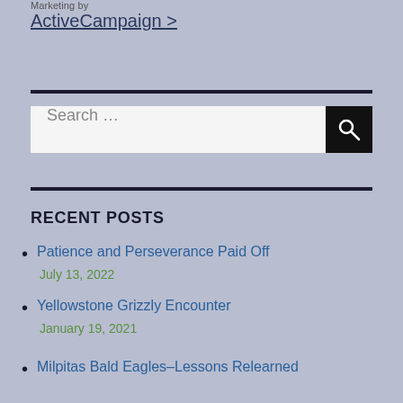Marketing by
ActiveCampaign >
RECENT POSTS
Patience and Perseverance Paid Off
July 13, 2022
Yellowstone Grizzly Encounter
January 19, 2021
Milpitas Bald Eagles–Lessons Relearned